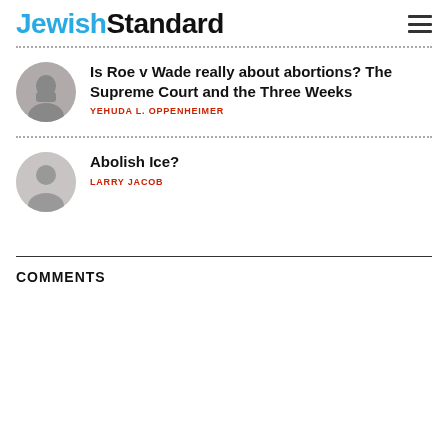Jewish Standard
Is Roe v Wade really about abortions? The Supreme Court and the Three Weeks
YEHUDA L. OPPENHEIMER
Abolish Ice?
LARRY JACOB
COMMENTS